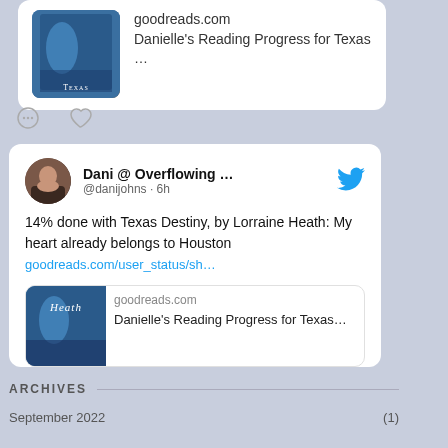[Figure (screenshot): Partial tweet card showing book cover thumbnail for Texas Destiny with link text 'Danielle's Reading Progress for Texas ...']
[Figure (screenshot): Like/comment icon row with speech bubble and heart icons]
[Figure (screenshot): Tweet by Dani @ Overflowing... (@danijohns · 6h) with Twitter bird icon, text '14% done with Texas Destiny, by Lorraine Heath: My heart already belongs to Houston', link goodreads.com/user_status/sh..., embedded goodreads card showing book cover and 'Danielle's Reading Progress for Texas...']
ARCHIVES
September 2022 (1)